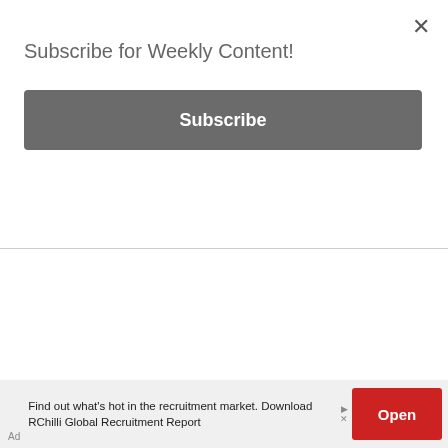Subscribe for Weekly Content!
Subscribe
| Name | Base Stats | Modifiers |
| --- | --- | --- |
| Infernostride
Unique
Demonhide Boots | Defense: 94-105(varies)(Base Defense: 28-35)
Required Level: 29 | 5% Chance To Cast Level 8 Blaze When Struck
20% Faster Run Walk
Adds 12-33 Fire Damage |
Find out what's hot in the recruitment market. Download RChilli Global Recruitment Report